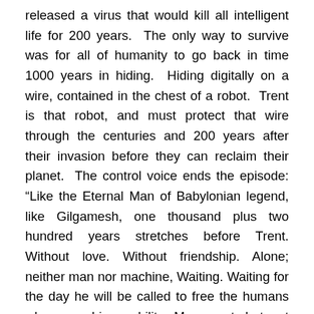released a virus that would kill all intelligent life for 200 years.  The only way to survive was for all of humanity to go back in time 1000 years in hiding.  Hiding digitally on a wire, contained in the chest of a robot.  Trent is that robot, and must protect that wire through the centuries and 200 years after their invasion before they can reclaim their planet.  The control voice ends the episode: “Like the Eternal Man of Babylonian legend, like Gilgamesh, one thousand plus two hundred years stretches before Trent. Without love. Without friendship. Alone; neither man nor machine, Waiting. Waiting for the day he will be called to free the humans who gave him mobility. Movement, but not life.”
Like the aforementioned Doctor Who episodes, the human race was reduced to microscopic size and preserved. Unlike Doctor Who, the hero is alone. The story is exciting